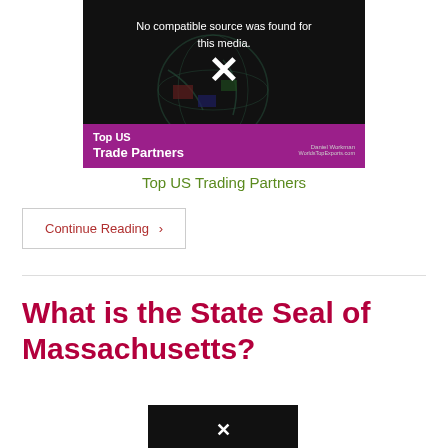[Figure (screenshot): Video player placeholder showing 'No compatible source was found for this media.' with an X icon. Bottom bar shows purple background with 'Top US Trade Partners' text and 'Daniel Workman WorldsTopExports.com' attribution.]
Top US Trading Partners
Continue Reading ›
What is the State Seal of Massachusetts?
[Figure (screenshot): Second video placeholder with black background and X icon at bottom of page.]